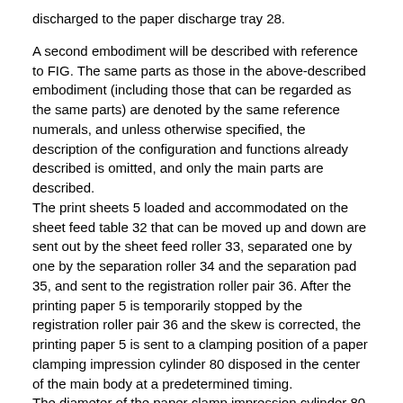discharged to the paper discharge tray 28.
A second embodiment will be described with reference to FIG. The same parts as those in the above-described embodiment (including those that can be regarded as the same parts) are denoted by the same reference numerals, and unless otherwise specified, the description of the configuration and functions already described is omitted, and only the main parts are described.
The print sheets 5 loaded and accommodated on the sheet feed table 32 that can be moved up and down are sent out by the sheet feed roller 33, separated one by one by the separation roller 34 and the separation pad 35, and sent to the registration roller pair 36. After the printing paper 5 is temporarily stopped by the registration roller pair 36 and the skew is corrected, the printing paper 5 is sent to a clamping position of a paper clamping impression cylinder 80 disposed in the center of the main body at a predetermined timing.
The diameter of the paper clamp impression cylinder 80 is set to be twice that of the printing drum 16, and clampers 81a and 81b are provided at opposing positions in the diameter direction. The printing paper 5 sent out from the